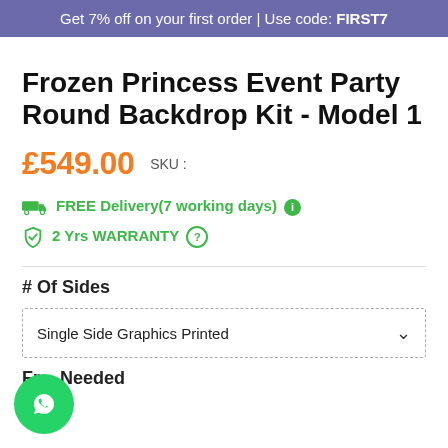Get 7% off on your first order | Use code: FIRST7
Frozen Princess Event Party Round Backdrop Kit - Model 1
£549.00   SKU :
FREE Delivery(7 working days) ℹ
2 Yrs WARRANTY ?
# Of Sides
Single Side Graphics Printed
Frame Needed